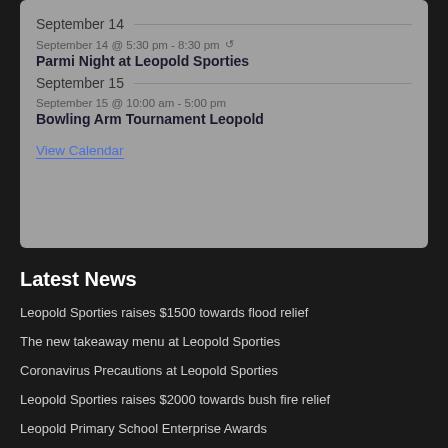September 14
September 14 @ 5:30 pm - 8:30 pm
Parmi Night at Leopold Sporties
September 15
September 15 @ 10:00 am - 5:00 pm
Bowling Arm Tournament Leopold
View Calendar
Latest News
Leopold Sporties raises $1500 towards flood relief
The new takeaway menu at Leopold Sporties
Coronavirus Precautions at Leopold Sporties
Leopold Sporties raises $2000 towards bush fire relief
Leopold Primary School Enterprise Awards